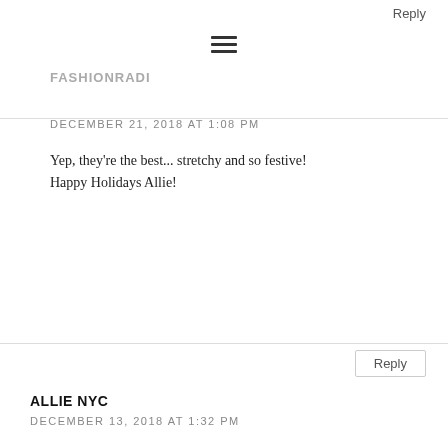Reply
FASHIONRADI
DECEMBER 21, 2018 AT 1:08 PM
Yep, they're the best... stretchy and so festive!
Happy Holidays Allie!
Reply
ALLIE NYC
DECEMBER 13, 2018 AT 1:32 PM